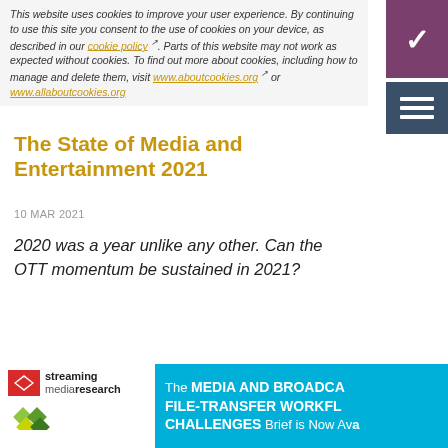This website uses cookies to improve your user experience. By continuing to use this site you consent to the use of cookies on your device, as described in our cookie policy. Parts of this website may not work as expected without cookies. To find out more about cookies, including how to manage and delete them, visit www.aboutcookies.org or www.allaboutcookies.org.
The State of Media and Entertainment 2021
10 MAR 2021
2020 was a year unlike any other. Can the OTT momentum be sustained in 2021?
The State of Corporate Video 2021
10 MAR 2021
The COVID-19 pandemic accelerated the adoption of corporate video, and while Zoom led the way, platforms like
[Figure (logo): Streaming Media Research logo with red badge icon and diamond shapes]
The MEDIA AND BROADCAST FILE-TRANSFER WORKFLOW CHALLENGES Brief is Now Ava…